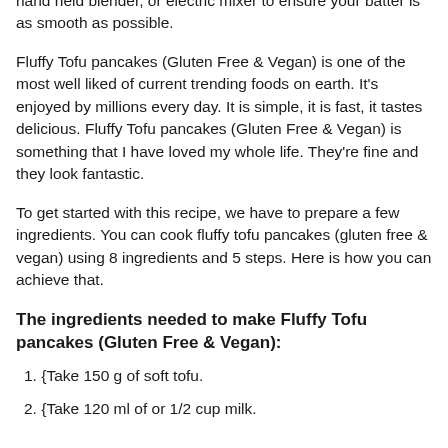hand held blender, or electric mixer to ensure your batter is as smooth as possible.
Fluffy Tofu pancakes (Gluten Free & Vegan) is one of the most well liked of current trending foods on earth. It's enjoyed by millions every day. It is simple, it is fast, it tastes delicious. Fluffy Tofu pancakes (Gluten Free & Vegan) is something that I have loved my whole life. They're fine and they look fantastic.
To get started with this recipe, we have to prepare a few ingredients. You can cook fluffy tofu pancakes (gluten free & vegan) using 8 ingredients and 5 steps. Here is how you can achieve that.
The ingredients needed to make Fluffy Tofu pancakes (Gluten Free & Vegan):
1. {Take 150 g of soft tofu.
2. {Take 120 ml of or 1/2 cup milk.